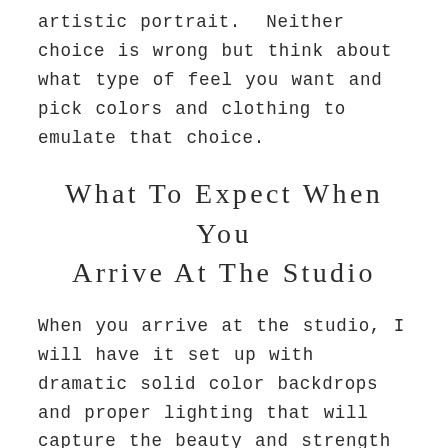artistic portrait.  Neither choice is wrong but think about what type of feel you want and pick colors and clothing to emulate that choice.
What To Expect When You Arrive At The Studio
When you arrive at the studio, I will have it set up with dramatic solid color backdrops and proper lighting that will capture the beauty and strength of your pregnancy.  While I love when partners and other children join the session; my goal is to create an atmosphere and